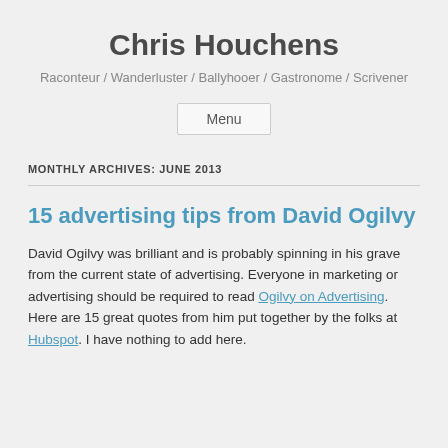Chris Houchens
Raconteur / Wanderluster / Ballyhooer / Gastronome / Scrivener
Menu
MONTHLY ARCHIVES: JUNE 2013
15 advertising tips from David Ogilvy
David Ogilvy was brilliant and is probably spinning in his grave from the current state of advertising. Everyone in marketing or advertising should be required to read Ogilvy on Advertising. Here are 15 great quotes from him put together by the folks at Hubspot. I have nothing to add here.